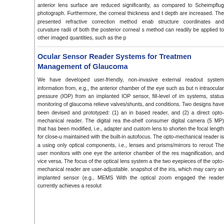anterior lens surface are reduced significantly, as compared to Scheimpflug photograph. Furthermore, the corneal thickness and depth are increased. The presented refractive correction method enables structure coordinates and curvature radii of both the posterior corneal s method can readily be applied to other imaged quantities, such as the p
Ocular Sensor Reader Systems for Treatment Management of Glaucoma
We have developed user-friendly, non-invasive external readout systems information from, e.g., the anterior chamber of the eye such as but n intraocular pressure (IOP) from an implanted IOP sensor, fill-level of im systems, status monitoring of glaucoma relieve valves/shunts, and conditions. Two designs have been devised and prototyped: (1) an in based reader, and (2) a direct opto-mechanical reader. The digital reader the-shelf consumer digital camera (5 MP) that has been modified, i.e., adapter and custom lens to shorten the focal length for close-up maintained with the built-in autofocus. The opto-mechanical reader is a using only optical components, i.e., lenses and prisms/mirrors to reroute The user monitors with one eye the anterior chamber of the res magnification, and vice versa. The focus of the optical lens system a the two eyepieces of the opto-mechanical reader are user-adjustable. snapshot of the iris, which may carry an implanted sensor (e.g., MEMS With the optical zoom engaged the reader currently achieves a resolut